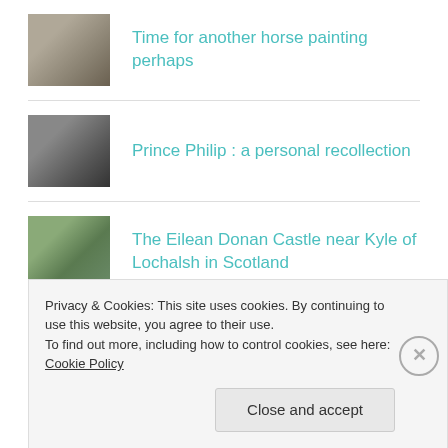Time for another horse painting perhaps
Prince Philip : a personal recollection
The Eilean Donan Castle near Kyle of Lochalsh in Scotland
Langstone Painting Emerging
Privacy & Cookies: This site uses cookies. By continuing to use this website, you agree to their use.
To find out more, including how to control cookies, see here: Cookie Policy
Close and accept